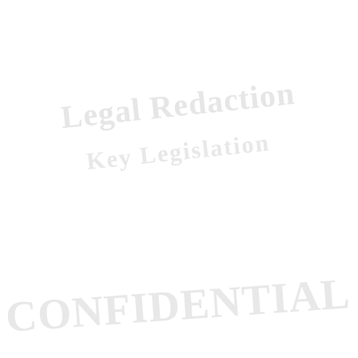[Figure (other): Blank white page with faint watermark text. Top watermark reads 'Legal Redaction' and 'Key Legislation' in large light gray serif font at a slight angle. Bottom watermark reads large page number or identifier text in very light gray.]